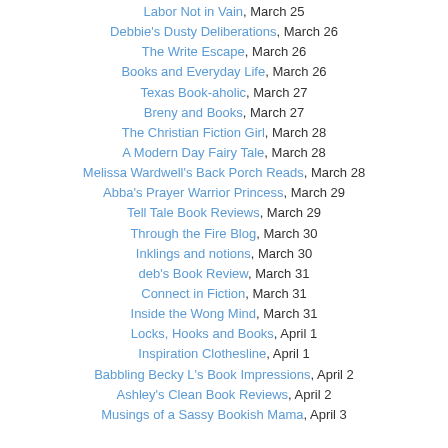Labor Not in Vain, March 25
Debbie's Dusty Deliberations, March 26
The Write Escape, March 26
Books and Everyday Life, March 26
Texas Book-aholic, March 27
Breny and Books, March 27
The Christian Fiction Girl, March 28
A Modern Day Fairy Tale, March 28
Melissa Wardwell's Back Porch Reads, March 28
Abba's Prayer Warrior Princess, March 29
Tell Tale Book Reviews, March 29
Through the Fire Blog, March 30
Inklings and notions, March 30
deb's Book Review, March 31
Connect in Fiction, March 31
Inside the Wong Mind, March 31
Locks, Hooks and Books, April 1
Inspiration Clothesline, April 1
Babbling Becky L's Book Impressions, April 2
Ashley's Clean Book Reviews, April 2
Musings of a Sassy Bookish Mama, April 3